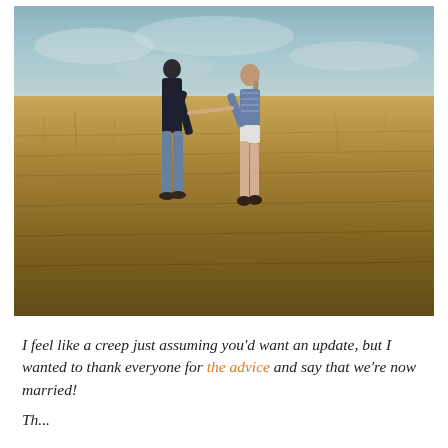[Figure (photo): A young couple holding hands and walking through a golden wheat/grass field under a pale overcast sky. The man is on the left wearing dark top and gray-blue trousers. The woman is on the right wearing a patterned blue vest top and white shorts with a long braid hairstyle.]
I feel like a creep just assuming you'd want an update, but I wanted to thank everyone for the advice and say that we're now married!
The ...